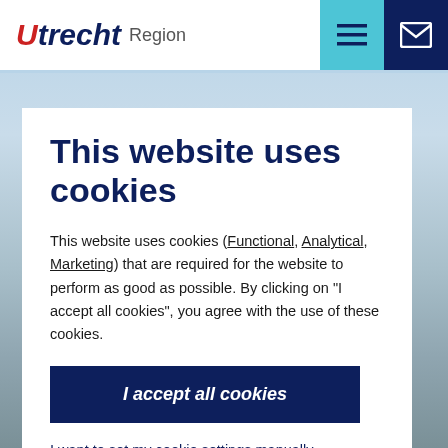[Figure (logo): Utrecht Region logo with red U and dark blue 'trecht' text followed by 'Region' in grey]
[Figure (screenshot): Background cityscape photo with sky and city view]
This website uses cookies
This website uses cookies (Functional, Analytical, Marketing) that are required for the website to perform as good as possible. By clicking on "I accept all cookies", you agree with the use of these cookies.
I accept all cookies
I want to set my cookie settings manually